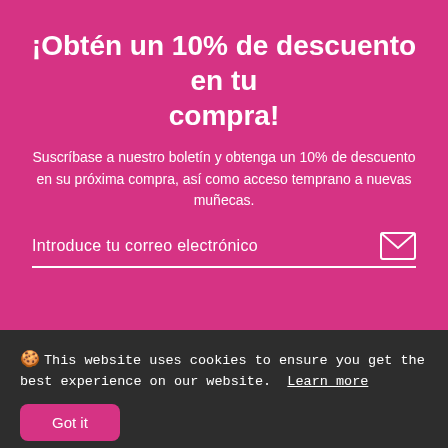¡Obtén un 10% de descuento en tu compra!
Suscríbase a nuestro boletín y obtenga un 10% de descuento en su próxima compra, así como acceso temprano a nuevas muñecas.
Introduce tu correo electrónico
🍪 This website uses cookies to ensure you get the best experience on our website. Learn more
Got it